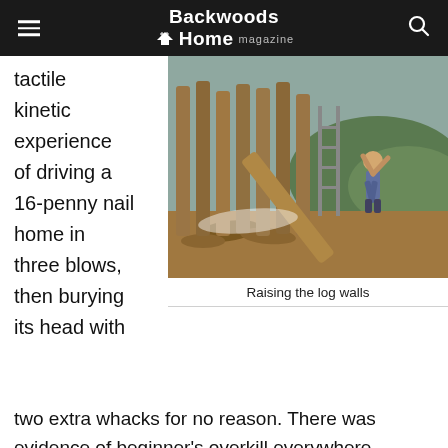Backwoods Home magazine
tactile kinetic experience of driving a 16-penny nail home in three blows, then burying its head with
[Figure (photo): A man raising a large log to build log walls on a construction site, with vertical log posts visible in the background and a landscape behind.]
Raising the log walls
two extra whacks for no reason. There was evidence of beginner's overkill everywhere. Electrical cord repairs looked like snakes that had swallowed gophers. A job wasn't finished until all the nails were gone. There were no gimmicks or shortcuts in the learning process. I sweated and strained and scarred. But the satisfaction of sawing a clean